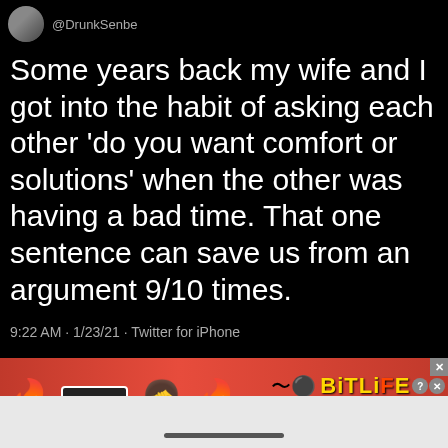[Figure (screenshot): Twitter/X profile avatar thumbnail, partially visible, dark image]
@DrunkSenbe (partial handle visible)
Some years back my wife and I got into the habit of asking each other 'do you want comfort or solutions' when the other was having a bad time. That one sentence can save us from an argument 9/10 times.
9:22 AM · 1/23/21 · Twitter for iPhone
[Figure (screenshot): BitLife mobile game advertisement banner with fire emojis, facepalm emoji, FAIL badge text, BitLife logo, and START A NEW LIFE button on red background]